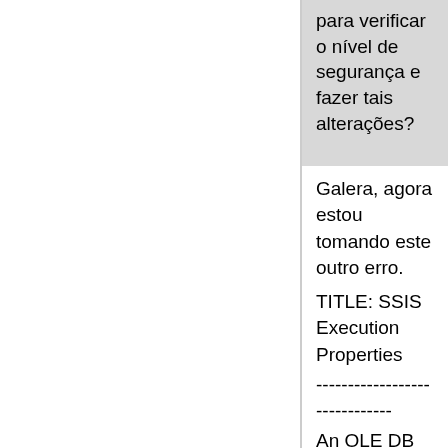para verificar o nível de segurança e fazer tais alterações?
Galera, agora estou tomando este outro erro.
TITLE: SSIS Execution Properties
------------------------------
An OLE DB error 0x80040E09 (The EXECUTE permission was denied on the object 'sp_ssis_listpackages', database 'msdb', schema 'dbo'.) occurred while enumerating packages. A SQL statement was issued and failed.
------------------------------
ADDITIONAL INFORMATION:
An OLE DB error 0x80040E09 (The EXECUTE permission was denied on the object